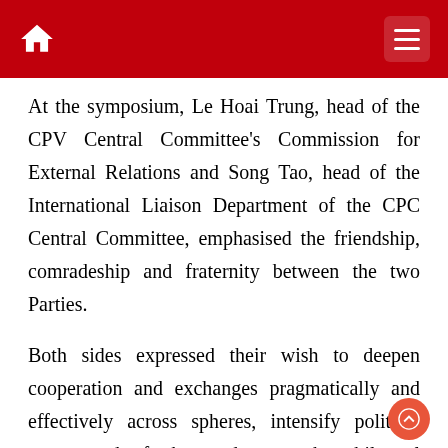At the symposium, Le Hoai Trung, head of the CPV Central Committee's Commission for External Relations and Song Tao, head of the International Liaison Department of the CPC Central Committee, emphasised the friendship, comradeship and fraternity between the two Parties.
Both sides expressed their wish to deepen cooperation and exchanges pragmatically and effectively across spheres, intensify political trust, and further advance the bilateral comprehensive strategic cooperative partnership in a healthy, stable and sustainable manner, bringing practical interests to people of the two countries and